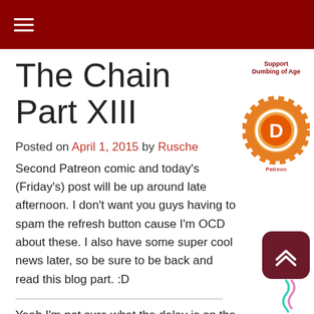☰ (hamburger menu icon)
The Chain Part XIII
Posted on April 1, 2015 by Rusche
Second Patreon comic and today's (Friday's) post will be up around late afternoon. I don't want you guys having to spam the refresh button cause I'm OCD about these. I also have some super cool news later, so be sure to be back and read this blog part. :D
[Figure (illustration): Orange circular support badge/logo with decorative design on the right sidebar]
[Figure (illustration): Dark red rounded square scroll-to-top button with double up-arrow chevron, with teal decorative squiggle below]
Yeah I'm not sure what the delay is on the March Madness Round 2 vote,